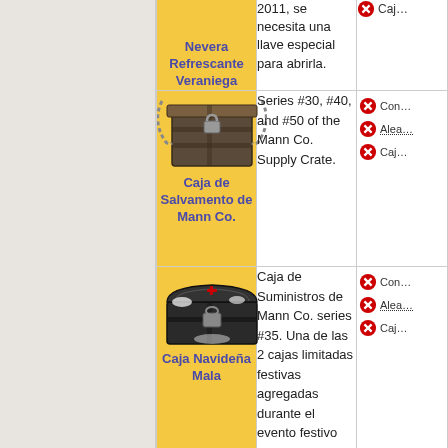| Item | Description | Related |
| --- | --- | --- |
| Nevera Refrescante Veraniega | 2011, se necesita una llave especial para abrirla. | Caja... |
| Caja de Salvamento de Mann Co. | Series #30, #40, and #50 of the Mann Co. Supply Crate. | Con...
Alea...
Caja... |
| Caja Navideña Mala | Caja de Suministros de Mann Co. series #35. Una de las 2 cajas limitadas festivas agregadas durante el evento festivo del 2011. | Con...
Alea...
Caja... |